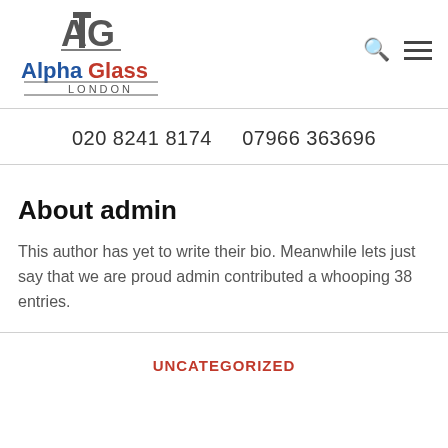[Figure (logo): AlphaGlass London logo with AG monogram in grey, 'Alpha' in blue and 'Glass' in red text, 'LONDON' subtitle in grey]
020 8241 8174    07966 363696
About admin
This author has yet to write their bio. Meanwhile lets just say that we are proud admin contributed a whooping 38 entries.
UNCATEGORIZED